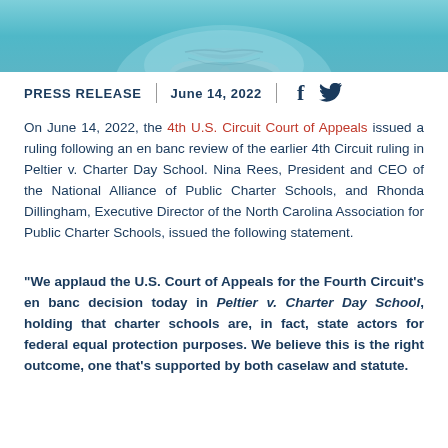[Figure (photo): Teal/blue header image showing a close-up of a person's lower face and chin area]
PRESS RELEASE  |  June 14, 2022
On June 14, 2022, the 4th U.S. Circuit Court of Appeals issued a ruling following an en banc review of the earlier 4th Circuit ruling in Peltier v. Charter Day School. Nina Rees, President and CEO of the National Alliance of Public Charter Schools, and Rhonda Dillingham, Executive Director of the North Carolina Association for Public Charter Schools, issued the following statement.
"We applaud the U.S. Court of Appeals for the Fourth Circuit's en banc decision today in Peltier v. Charter Day School, holding that charter schools are, in fact, state actors for federal equal protection purposes. We believe this is the right outcome, one that's supported by both caselaw and statute.